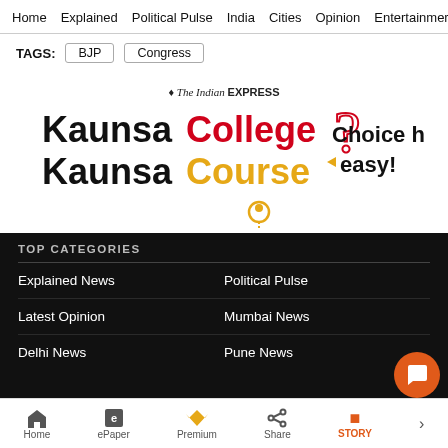Home   Explained   Political Pulse   India   Cities   Opinion   Entertainment
TAGS:  BJP  Congress
[Figure (advertisement): The Indian Express advertisement for 'Kaunsa College? Kaunsa Course?' with tagline 'Choice hogi easy!']
TOP CATEGORIES
Explained News
Political Pulse
Latest Opinion
Mumbai News
Delhi News
Pune News
Home   ePaper   Premium   Share   STORY